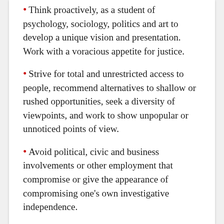Think proactively, as a student of psychology, sociology, politics and art to develop a unique vision and presentation. Work with a voracious appetite for justice.
Strive for total and unrestricted access to people, recommend alternatives to shallow or rushed opportunities, seek a diversity of viewpoints, and work to show unpopular or unnoticed points of view.
Avoid political, civic and business involvements or other employment that compromise or give the appearance of compromising one's own investigative independence.
Strive to be unobtrusive and humble in dealing with people.
Respect the integrity of the evidence and